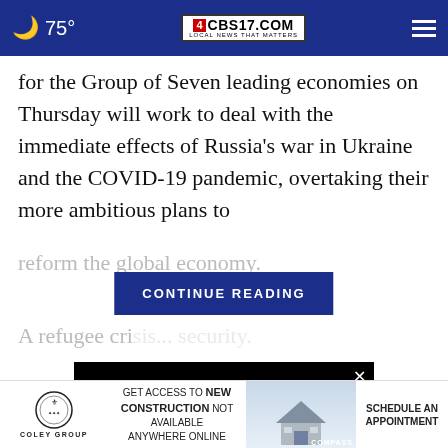🌙 75° | CBS17.COM LOCAL NEWS THAT MATTERS
for the Group of Seven leading economies on Thursday will work to deal with the immediate effects of Russia's war in Ukraine and the COVID-19 pandemic, overtaking their more ambitious plans to reform the global economy.
CONTINUE READING
A refugee cris... security.
[Figure (other): Video advertisement thumbnail with close button]
[Figure (other): Bottom banner ad: Coley Group / GET ACCESS TO NEW CONSTRUCTION NOT AVAILABLE ANYWHERE ONLINE / house photo / SCHEDULE AN APPOINTMENT / COMPASS]